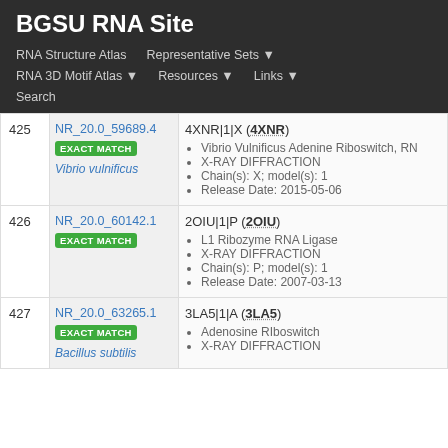BGSU RNA Site
RNA Structure Atlas | Representative Sets ▾ | RNA 3D Motif Atlas ▾ | Resources ▾ | Links ▾ | Search
| # | ID / Match / Organism | Entry Details |
| --- | --- | --- |
| 425 | NR_20.0_59689.4 EXACT MATCH Vibrio vulnificus | 4XNR|1|X (4XNR) • Vibrio Vulnificus Adenine Riboswitch, RN... • X-RAY DIFFRACTION • Chain(s): X; model(s): 1 • Release Date: 2015-05-06 |
| 426 | NR_20.0_60142.1 EXACT MATCH | 2OIU|1|P (2OIU) • L1 Ribozyme RNA Ligase • X-RAY DIFFRACTION • Chain(s): P; model(s): 1 • Release Date: 2007-03-13 |
| 427 | NR_20.0_63265.1 EXACT MATCH Bacillus subtilis | 3LA5|1|A (3LA5) • Adenosine RIboswitch • X-RAY DIFFRACTION |